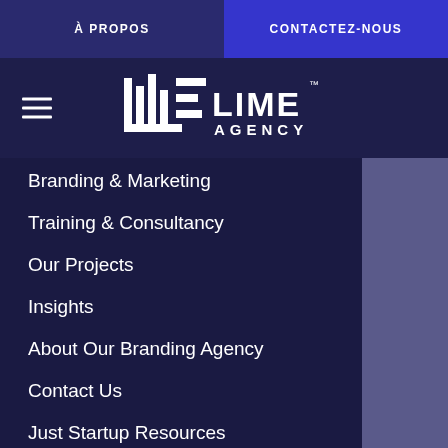À PROPOS | CONTACTEZ-NOUS
[Figure (logo): Lime Agency logo with stylized bar-graph letters and trademark symbol]
Branding & Marketing
Training & Consultancy
Our Projects
Insights
About Our Branding Agency
Contact Us
Just Startup Resources